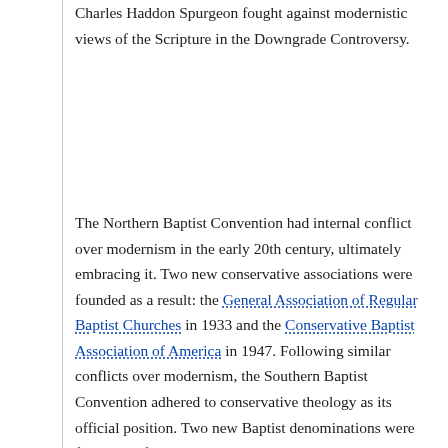Charles Haddon Spurgeon fought against modernistic views of the Scripture in the Downgrade Controversy.
The Northern Baptist Convention had internal conflict over modernism in the early 20th century, ultimately embracing it. Two new conservative associations were founded as a result: the General Association of Regular Baptist Churches in 1933 and the Conservative Baptist Association of America in 1947. Following similar conflicts over modernism, the Southern Baptist Convention adhered to conservative theology as its official position. Two new Baptist denominations were formed by former Southern Baptists who rejected the Southern Baptist interpretation of the Bible: the Alliance of Baptists in 1987 and the Cooperative